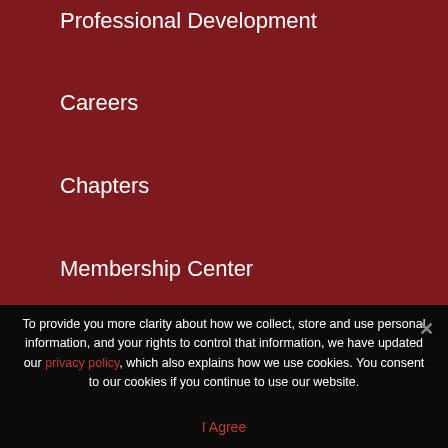Professional Development
Careers
Chapters
Membership Center
About
Home
To provide you more clarity about how we collect, store and use personal information, and your rights to control that information, we have updated our privacy policy, which also explains how we use cookies. You consent to our cookies if you continue to use our website.
I Agree